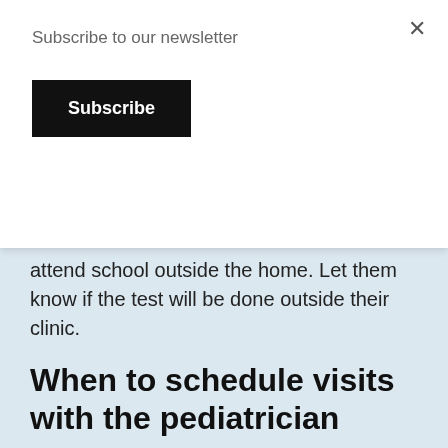Subscribe to our newsletter
Subscribe
attend school outside the home. Let them know if the test will be done outside their clinic.
When to schedule visits with the pediatrician
It is suggested you maintain a regular schedule of well-child visits for your child. This schedule will ensure your child develops a trusting relationship with the pediatrician so they will be able to track any health issues. Besides knowing the timetable